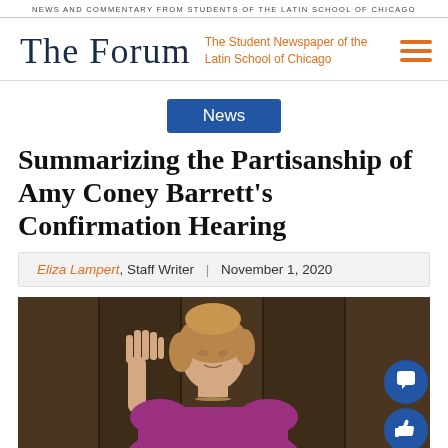NEWS AND COMMENTARY FROM STUDENTS OF THE LATIN SCHOOL OF CHICAGO
The Forum — The Student Newspaper of the Latin School of Chicago
News
Summarizing the Partisanship of Amy Coney Barrett's Confirmation Hearing
Eliza Lampert, Staff Writer | November 1, 2020
[Figure (photo): Amy Coney Barrett raising her right hand during her confirmation hearing, wearing a purple/magenta dress, photographed against a dark wood-paneled background.]